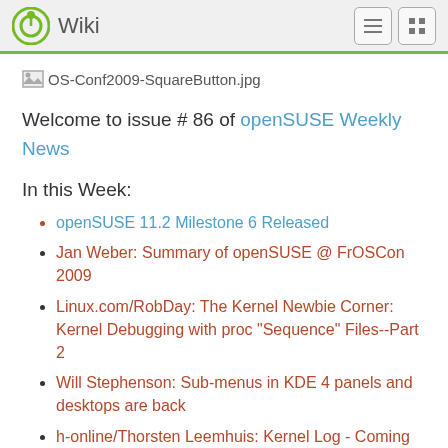Wiki
[Figure (other): Broken image placeholder labeled OS-Conf2009-SquareButton.jpg]
Welcome to issue # 86 of openSUSE Weekly News
In this Week:
openSUSE 11.2 Milestone 6 Released
Jan Weber: Summary of openSUSE @ FrOSCon 2009
Linux.com/RobDay: The Kernel Newbie Corner: Kernel Debugging with proc "Sequence" Files--Part 2
Will Stephenson: Sub-menus in KDE 4 panels and desktops are back
h-online/Thorsten Leemhuis: Kernel Log - Coming in 2.6.31 – Part 4: Tracing, architecture, virtualisation